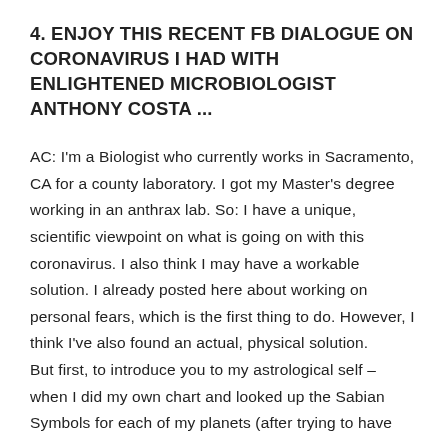4. ENJOY THIS RECENT FB DIALOGUE ON CORONAVIRUS I HAD WITH ENLIGHTENED MICROBIOLOGIST ANTHONY COSTA ...
AC: I'm a Biologist who currently works in Sacramento, CA for a county laboratory. I got my Master's degree working in an anthrax lab. So: I have a unique, scientific viewpoint on what is going on with this coronavirus. I also think I may have a workable solution. I already posted here about working on personal fears, which is the first thing to do. However, I think I've also found an actual, physical solution.
But first, to introduce you to my astrological self – when I did my own chart and looked up the Sabian Symbols for each of my planets (after trying to have